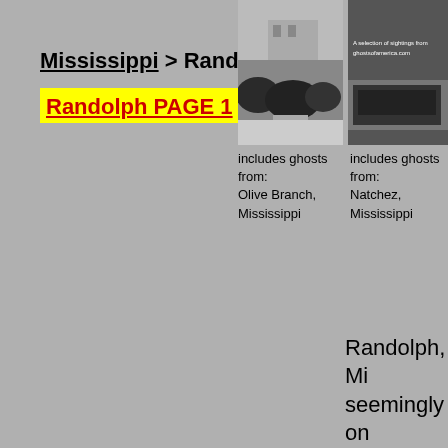Mississippi > Randolph
Randolph PAGE 1  2
[Figure (photo): Black and white photo showing shrubs/bushes and a pathway, ghost town imagery for Olive Branch, Mississippi]
[Figure (photo): Black and white photo with text overlay, ghost town imagery for Natchez, Mississippi]
includes ghosts from: Olive Branch, Mississippi
includes ghosts from: Natchez, Mississippi
Randolph, Mi seemingly on